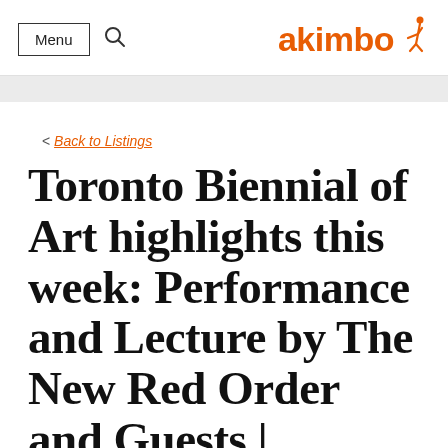Menu  [search]  akimbo
< Back to Listings
Toronto Biennial of Art highlights this week: Performance and Lecture by The New Red Order and Guests |